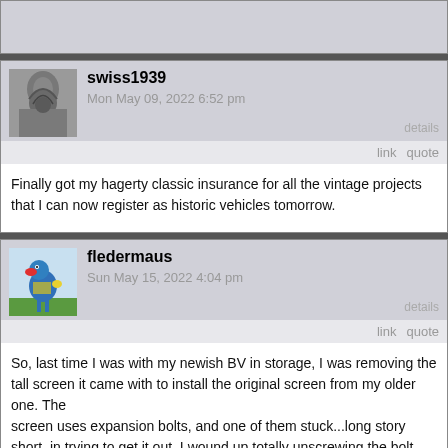(top stub — partial post header)
swiss1939
Mon May 09, 2022 6:52 pm
link   quote
Finally got my hagerty classic insurance for all the vintage projects that I can now register as historic vehicles tomorrow.
fledermaus
Sun May 15, 2022 4:04 pm
link   quote
So, last time I was with my newish BV in storage, I was removing the tall screen it came with to install the original screen from my older one. The
screen uses expansion bolts, and one of them stuck...long story short, in trying to get it out, I wound up totally unscrewing the bolt, and, well, yeah, bolt, washer and expansion nut disappeared into